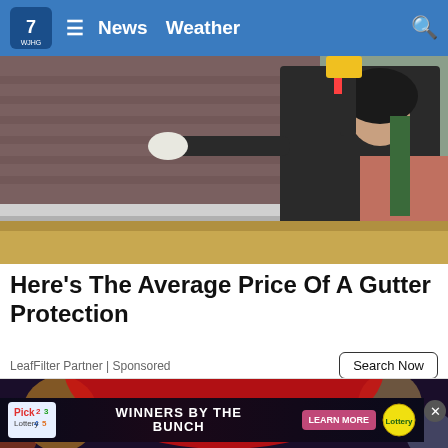WJHG | News  Weather
[Figure (photo): Worker on a ladder installing or inspecting gutters on a house roof, holding a power tool, wearing a black hoodie and work gloves]
Here's The Average Price Of A Gutter Protection
LeafFilter Partner | Sponsored
[Figure (photo): Blurred colorful stage-like background with red and bokeh lights]
[Figure (infographic): Lottery advertisement banner: Pick (2 3 4 5) - WINNERS BY THE BUNCH - LEARN MORE button - Lottery logo]